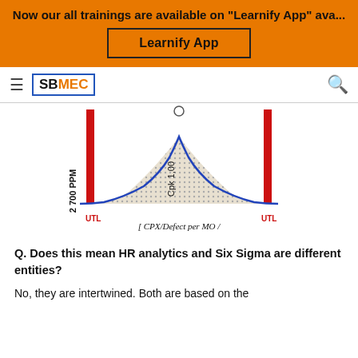Now our all trainings are available on "Learnify App" ava...
[Figure (other): Learnify App button on orange background]
[Figure (continuous-plot): Normal distribution bell curve diagram showing CPK/Defect per MO/Sigma Score, with 2700 PPM label on left vertical axis, Cpk 1.00 label in center, and UTL markers on both sides]
Q. Does this mean HR analytics and Six Sigma are different entities?
No, they are intertwined. Both are based on the